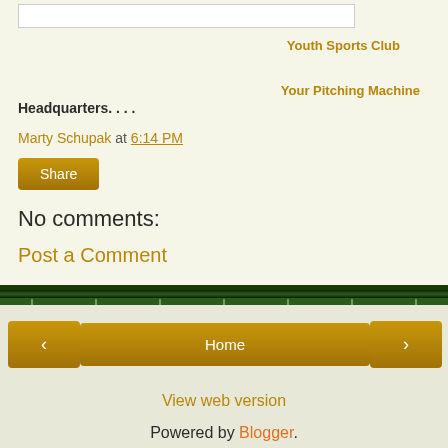Youth Sports Club
Your Pitching Machine Headquarters....
Marty Schupak at 6:14 PM
Share
No comments:
Post a Comment
Home
View web version
Powered by Blogger.